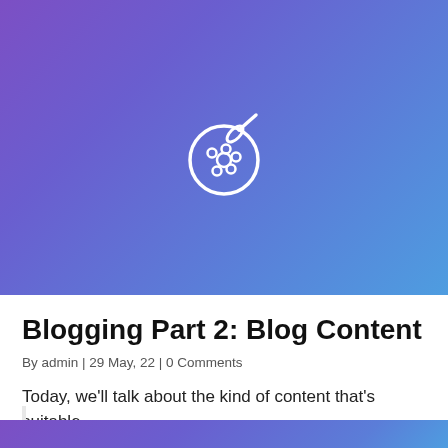[Figure (illustration): Purple-to-blue gradient hero image with a white outline painter's palette icon centered on it]
Blogging Part 2: Blog Content
By admin | 29 May, 22 | 0 Comments
Today, we'll talk about the kind of content that's suitable